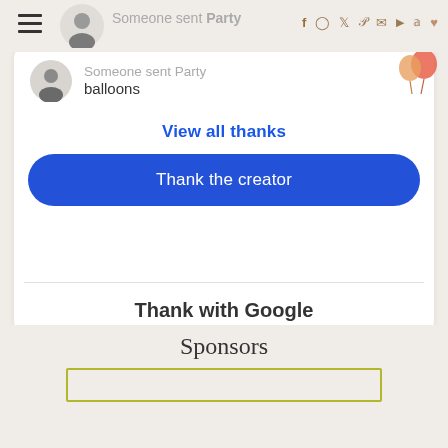Someone sent Party balloons
View all thanks
Thank the creator
Thank with Google
Learn how this benefits the creator
Sponsors